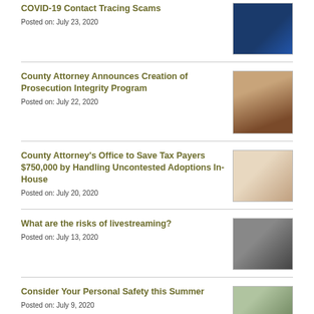COVID-19 Contact Tracing Scams
Posted on: July 23, 2020
[Figure (photo): COVID-19 contact tracing scam awareness graphic on dark blue background with phone]
County Attorney Announces Creation of Prosecution Integrity Program
Posted on: July 22, 2020
[Figure (photo): Portrait of woman in black jacket with red shirt]
County Attorney's Office to Save Tax Payers $750,000 by Handling Uncontested Adoptions In-House
Posted on: July 20, 2020
[Figure (photo): Family photo with adults and child with arms outstretched]
What are the risks of livestreaming?
Posted on: July 13, 2020
[Figure (photo): Black and white photo of people around a table with devices]
Consider Your Personal Safety this Summer
Posted on: July 9, 2020
[Figure (photo): Person walking alone on a street, personal safety theme]